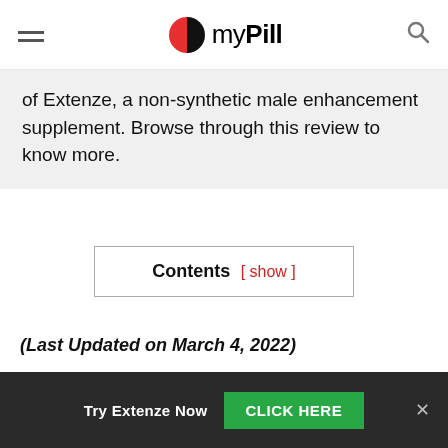myPill
of Extenze, a non-synthetic male enhancement supplement. Browse through this review to know more.
Contents [ show ]
(Last Updated on March 4, 2022)
Men pride themselves on bring masculine, energetic, in control.
Try Extenze Now  CLICK HERE